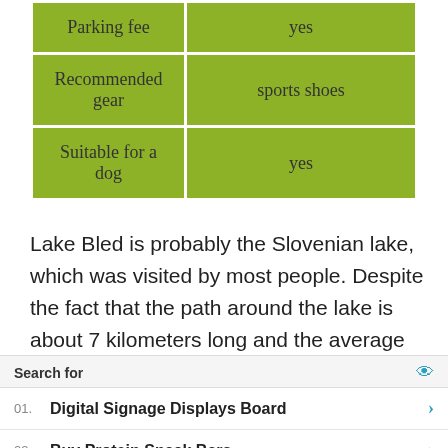| Parking fee | yes |
| Recommended gear | sports shoes |
| Suitable for a dog | yes |
Lake Bled is probably the Slovenian lake, which was visited by most people. Despite the fact that the path around the lake is about 7 kilometers long and the average hiker spends a good hour on it, a lot of people go to Bled just to visit this Gorenjska pearl.
Search for | 01. Digital Signage Displays Board | 02. Buy Protein Snack Bars | Yahoo! Search | Sponsored